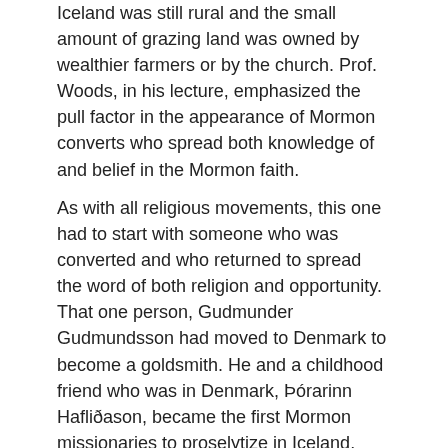Iceland was still rural and the small amount of grazing land was owned by wealthier farmers or by the church. Prof. Woods, in his lecture, emphasized the pull factor in the appearance of Mormon converts who spread both knowledge of and belief in the Mormon faith.
As with all religious movements, this one had to start with someone who was converted and who returned to spread the word of both religion and opportunity. That one person, Gudmunder Gudmundsson had moved to Denmark to become a goldsmith. He and a childhood friend who was in Denmark, Þórarinn Hafliðason, became the first Mormon missionaries to proselytize in Iceland. Prof. Wood mentioned, a number of times, how through his research he's been able to document the truth of the early missionary's accounts of their experience in Iceland. They were met with a great deal of hostility which isn't surprising. Iceland's state religion was Lutheranism. Rooted in Catholicism and, before that, paganism, in which religious and secular power were inextricably linked, the preaching of a new religion with new loyalties